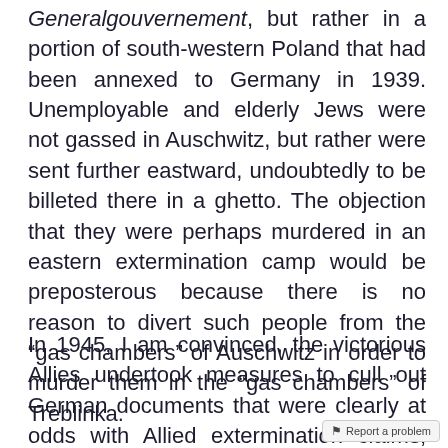Generalgouvernement, but rather in a portion of south-western Poland that had been annexed to Germany in 1939. Unemployable and elderly Jews were not gassed in Auschwitz, but rather were sent further eastward, undoubtedly to be billeted there in a ghetto. The objection that they were perhaps murdered in an eastern extermination camp would be preposterous because there is no reason to divert such people from the “gas chambers” of Auschwitz in order to murder them in the “gas chambers” of Treblinka.
In 1945, I am convinced, the victorious Allies undertook measures to cull out German documents that were clearly at odds with Allied extermination claims, which is why